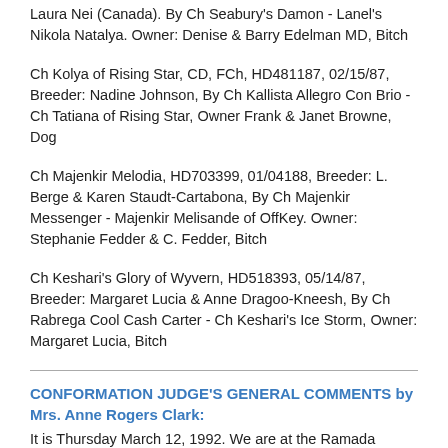Laura Nei (Canada). By Ch Seabury's Damon - Lanel's Nikola Natalya. Owner: Denise & Barry Edelman MD, Bitch
Ch Kolya of Rising Star, CD, FCh, HD481187, 02/15/87, Breeder: Nadine Johnson, By Ch Kallista Allegro Con Brio - Ch Tatiana of Rising Star, Owner Frank & Janet Browne, Dog
Ch Majenkir Melodia, HD703399, 01/04188, Breeder: L. Berge & Karen Staudt-Cartabona, By Ch Majenkir Messenger - Majenkir Melisande of OffKey. Owner: Stephanie Fedder & C. Fedder, Bitch
Ch Keshari's Glory of Wyvern, HD518393, 05/14/87, Breeder: Margaret Lucia & Anne Dragoo-Kneesh, By Ch Rabrega Cool Cash Carter - Ch Keshari's Ice Storm, Owner: Margaret Lucia, Bitch
CONFORMATION JUDGE'S GENERAL COMMENTS by Mrs. Anne Rogers Clark:
It is Thursday March 12, 1992. We are at the Ramada